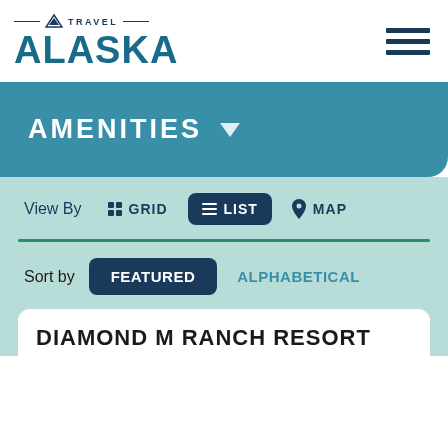[Figure (logo): Travel Alaska logo with mountain icon and horizontal lines flanking 'TRAVEL' text above large 'ALASKA' text in teal/navy]
AMENITIES ▼
View By   GRID   LIST   MAP
Sort by   FEATURED   ALPHABETICAL
DIAMOND M RANCH RESORT